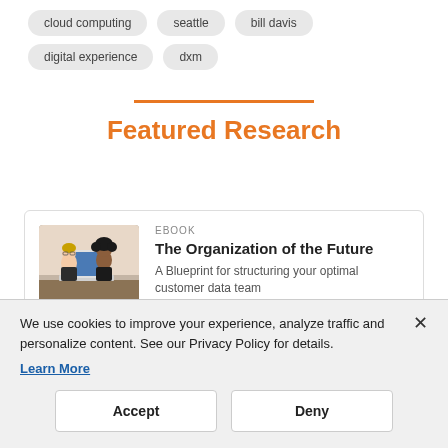cloud computing
seattle
bill davis
digital experience
dxm
Featured Research
[Figure (photo): Two women looking at a laptop together]
EBOOK
The Organization of the Future
A Blueprint for structuring your optimal customer data team
We use cookies to improve your experience, analyze traffic and personalize content. See our Privacy Policy for details. Learn More
Accept
Deny